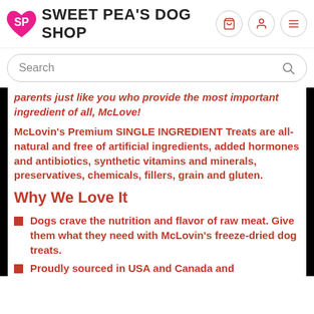SWEET PEA'S DOG SHOP
Search
parents just like you who provide the most important ingredient of all, McLove!
McLovin's Premium SINGLE INGREDIENT Treats are all-natural and free of artificial ingredients, added hormones and antibiotics, synthetic vitamins and minerals, preservatives, chemicals, fillers, grain and gluten.
Why We Love It
Dogs crave the nutrition and flavor of raw meat. Give them what they need with McLovin's freeze-dried dog treats.
Proudly sourced in USA and Canada and